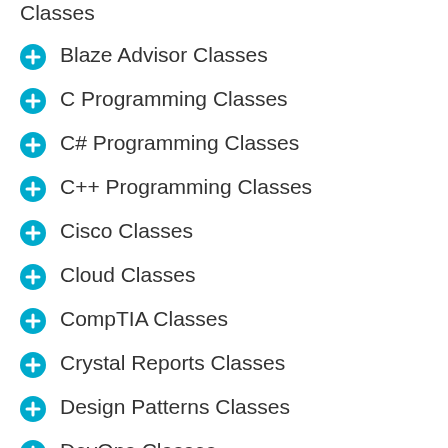Classes
Blaze Advisor Classes
C Programming Classes
C# Programming Classes
C++ Programming Classes
Cisco Classes
Cloud Classes
CompTIA Classes
Crystal Reports Classes
Design Patterns Classes
DevOps Classes
Foundations of Web Design & Web Authoring Classes
Git, Jira, Wicket, Gradle, Tableau Classes